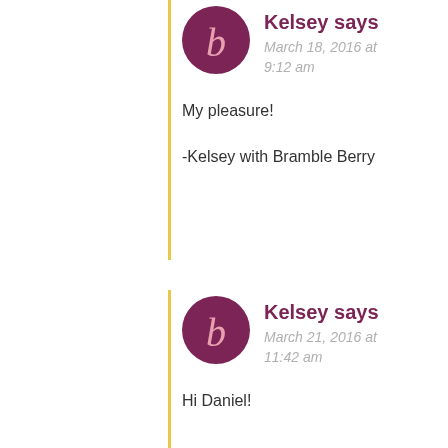[Figure (illustration): Purple circular avatar with stylized lowercase letter b in pink, for Kelsey (March 18, 2016 at 9:12 am comment)]
Kelsey says
March 18, 2016 at 9:12 am
My pleasure!
-Kelsey with Bramble Berry
[Figure (illustration): Purple circular avatar with stylized lowercase letter b in pink, for Kelsey (March 21, 2016 at 11:42 am comment)]
Kelsey says
March 21, 2016 at 11:42 am
Hi Daniel!